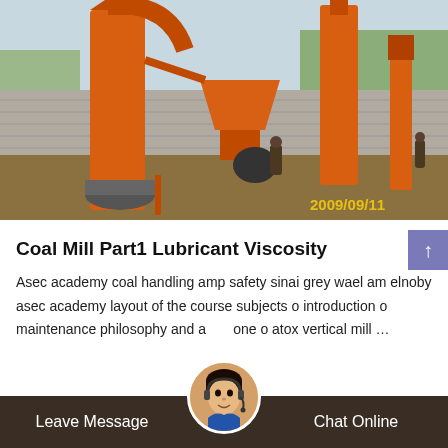[Figure (photo): Industrial coal mill equipment — large orange vertical cyclone separators and conveyors at a construction/industrial site. Workers visible in background. Timestamp reads 2009/09/11.]
Coal Mill Part1 Lubricant Viscosity
Asec academy coal handling amp safety sinai grey wael am elnoby asec academy layout of the course subjects o introduction o maintenance philosophy and atox vertical mill...
Leave Message   Chat Online